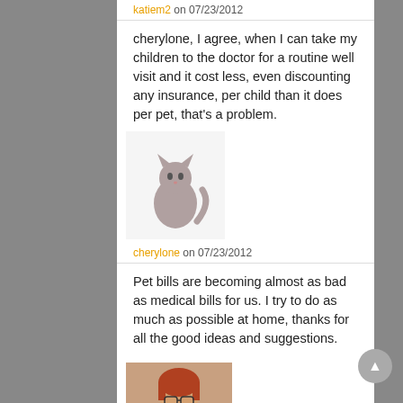katiem2 on 07/23/2012
cherylone, I agree, when I can take my children to the doctor for a routine well visit and it cost less, even discounting any insurance, per child than it does per pet, that's a problem.
[Figure (photo): Avatar image of a sitting cat (gray)]
cherylone on 07/23/2012
Pet bills are becoming almost as bad as medical bills for us. I try to do as much as possible at home, thanks for all the good ideas and suggestions.
[Figure (photo): Avatar photo of a woman with red hair and glasses]
katiem2 on 07/21/2012